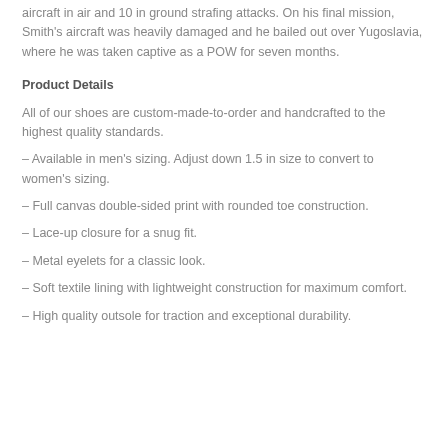aircraft in air and 10 in ground strafing attacks. On his final mission, Smith's aircraft was heavily damaged and he bailed out over Yugoslavia, where he was taken captive as a POW for seven months.
Product Details
All of our shoes are custom-made-to-order and handcrafted to the highest quality standards.
– Available in men's sizing. Adjust down 1.5 in size to convert to women's sizing.
– Full canvas double-sided print with rounded toe construction.
– Lace-up closure for a snug fit.
– Metal eyelets for a classic look.
– Soft textile lining with lightweight construction for maximum comfort.
– High quality outsole for traction and exceptional durability.